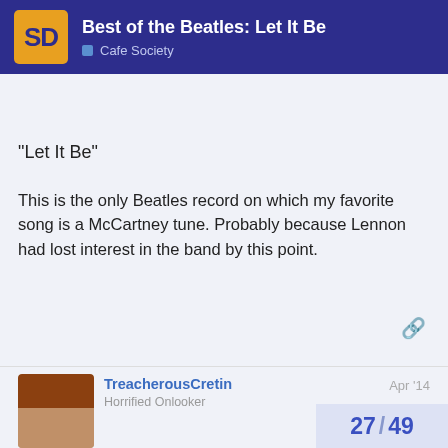Best of the Beatles: Let It Be — Cafe Society
“Let It Be”
This is the only Beatles record on which my favorite song is a McCartney tune. Probably because Lennon had lost interest in the band by this point.
TreacherousCretin — Horrified Onlooker — Apr '14
I've Got A Feeling.
In spite of the weariness, burnout, and cabin fever The Fabs could still be a terrific band performing a terrific song.
Phil Spector soaked Across The Universe in molasses and rendered it into a wall-of-sound dirge. Had on the “Anthology” disc, or even Paul’s “Le